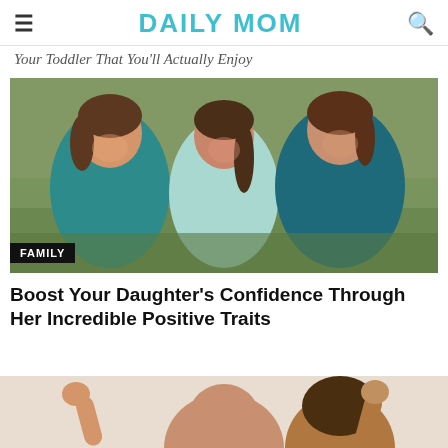DAILY MOM
Your Toddler That You'll Actually Enjoy
[Figure (photo): Three smiling girls standing outdoors in a field, arms around each other, wearing teal and floral tops. A 'FAMILY' badge is overlaid in the bottom left corner.]
Boost Your Daughter's Confidence Through Her Incredible Positive Traits
[Figure (photo): Partial view of a woman and a child with curly hair, both raising fists, cropped at the bottom of the page.]